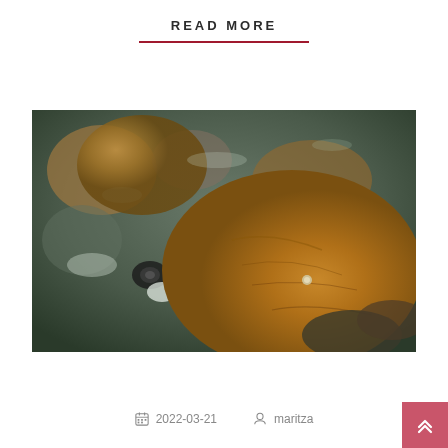READ MORE
[Figure (photo): Close-up macro photograph of wet orange-brown rocks/stones in water, with blurred background of more rounded stones in various colors]
2022-03-21   maritza